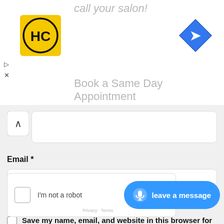call your salon!
[Figure (logo): HC logo yellow square with black circle and HC letters]
[Figure (other): Blue diamond navigation arrow icon]
Book a Same Day Appointment
[Figure (screenshot): Collapsed form field with chevron up button]
Email *
[Figure (screenshot): Empty email input field]
Save my name, email, and website in this browser for the next time I comment.
[Figure (screenshot): reCAPTCHA widget with I'm not a robot checkbox]
leave a message